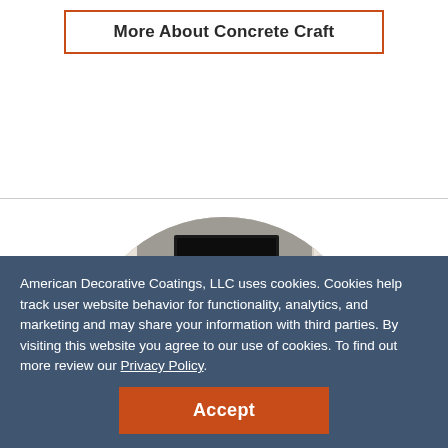More About Concrete Craft
[Figure (photo): Circular-cropped interior photo of a modern living room with a concrete-finish fireplace wall, mounted TV, wooden shelf with decor, armchair, coffee table, large plant, and two dogs lying on the floor.]
American Decorative Coatings, LLC uses cookies. Cookies help track user website behavior for functionality, analytics, and marketing and may share your information with third parties. By visiting this website you agree to our use of cookies. To find out more review our Privacy Policy.
Accept